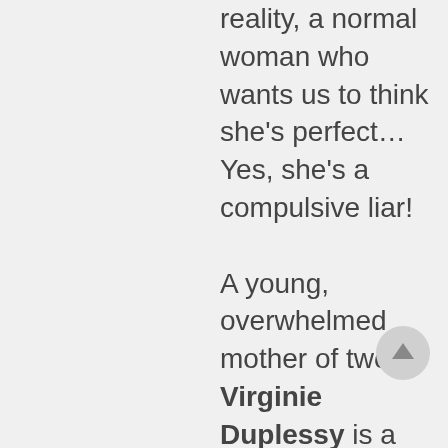reality, a normal woman who wants us to think she's perfect…Yes, she's a compulsive liar!

A young, overwhelmed mother of two, Virginie Duplessy is a press, radio, and television